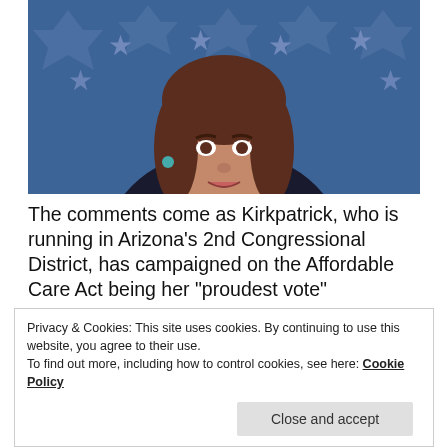[Figure (photo): A middle-aged woman with brown hair speaking at a podium, wearing a dark blazer with white collar, in front of a blue background with stars and pentagon shapes.]
The comments come as Kirkpatrick, who is running in Arizona's 2nd Congressional District, has campaigned on the Affordable Care Act being her “proudest vote”
Privacy & Cookies: This site uses cookies. By continuing to use this website, you agree to their use.
To find out more, including how to control cookies, see here: Cookie Policy
Close and accept